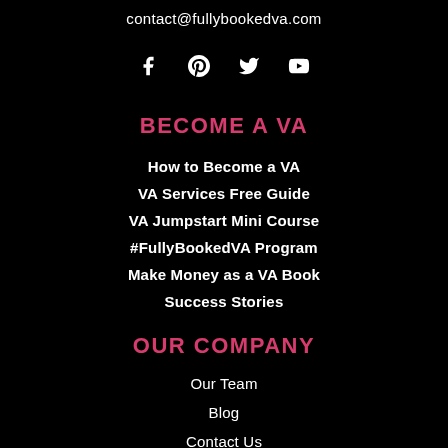contact@fullybookedva.com
[Figure (infographic): Social media icons: Facebook, Pinterest, Twitter, YouTube]
BECOME A VA
How to Become a VA
VA Services Free Guide
VA Jumpstart Mini Course
#FullyBookedVA Program
Make Money as a VA Book
Success Stories
OUR COMPANY
Our Team
Blog
Contact Us
Privacy Policy